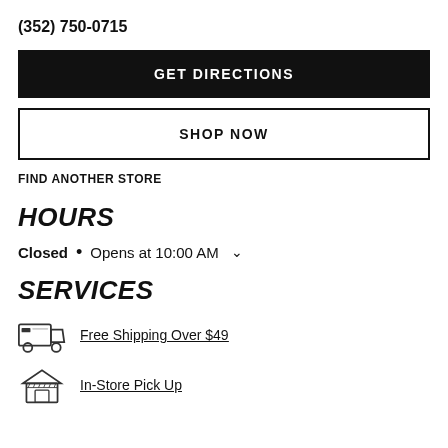(352) 750-0715
GET DIRECTIONS
SHOP NOW
FIND ANOTHER STORE
HOURS
Closed • Opens at 10:00 AM
SERVICES
Free Shipping Over $49
In-Store Pick Up